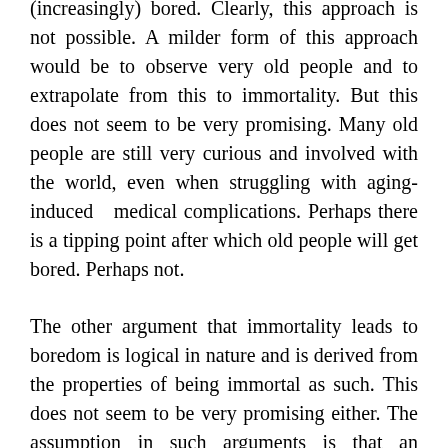(increasingly) bored. Clearly, this approach is not possible. A milder form of this approach would be to observe very old people and to extrapolate from this to immortality. But this does not seem to be very promising. Many old people are still very curious and involved with the world, even when struggling with aging-induced medical complications. Perhaps there is a tipping point after which old people will get bored. Perhaps not.
The other argument that immortality leads to boredom is logical in nature and is derived from the properties of being immortal as such. This does not seem to be very promising either. The assumption in such arguments is that an immortal person will exhaust all there is to live for. There are at least two problems with such a line of reasoning. The first problem is whether such a state of affairs (a fixed person with finite possibilities and experiences) logically follows from immortality. Why not assume there will be infinite possibilities and experiences (even if the person